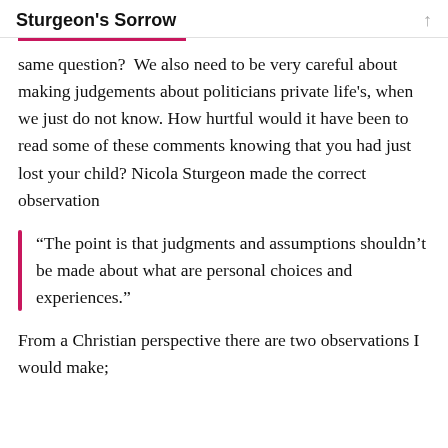Sturgeon's Sorrow
same question?  We also need to be very careful about making judgements about politicians private life's, when we just do not know. How hurtful would it have been to read some of these comments knowing that you had just lost your child? Nicola Sturgeon made the correct observation
“The point is that judgments and assumptions shouldn’t be made about what are personal choices and experiences.”
From a Christian perspective there are two observations I would make;